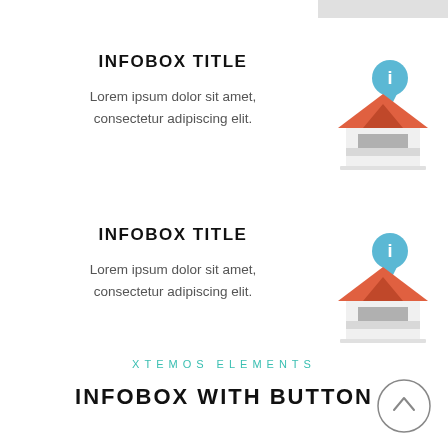INFOBOX TITLE
Lorem ipsum dolor sit amet, consectetur adipiscing elit.
[Figure (illustration): Flat icon of a house with a blue info map pin above the roof]
INFOBOX TITLE
Lorem ipsum dolor sit amet, consectetur adipiscing elit.
[Figure (illustration): Flat icon of a house with a blue info map pin above the roof]
XTEMOS ELEMENTS
INFOBOX WITH BUTTON
[Figure (illustration): Circular back-to-top arrow button]